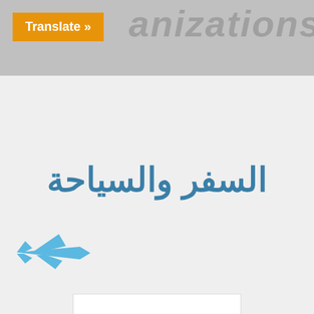[Figure (screenshot): Top navigation banner with metallic grey background showing partial text 'anizations' and an orange 'Translate »' button on the left]
السفر والسياحة
[Figure (illustration): Blue airplane/travel icon pointing right]
[Figure (logo): Zahid Travel company logo card: stylized Z letter in red with black 3D box shadow, Arabic text الزاهد للسياحة and English text ZAHID TRAVEL below]
الزاهد للسياحة
ZAHID TRAVEL